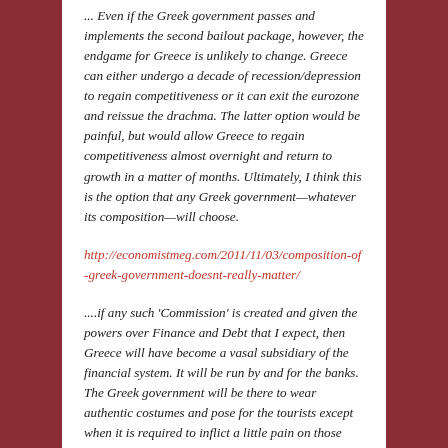... Even if the Greek government passes and implements the second bailout package, however, the endgame for Greece is unlikely to change. Greece can either undergo a decade of recession/depression to regain competitiveness or it can exit the eurozone and reissue the drachma. The latter option would be painful, but would allow Greece to regain competitiveness almost overnight and return to growth in a matter of months. Ultimately, I think this is the option that any Greek government—whatever its composition—will choose.
http://economistmeg.com/2011/11/03/composition-of-greek-government-doesnt-really-matter/
....if any such 'Commission' is created and given the powers over Finance and Debt that I expect, then Greece will have become a vasal subsidiary of the financial system. It will be run by and for the banks. The Greek government will be there to wear authentic costumes and pose for the tourists except when it is required to inflict a little pain on those who might